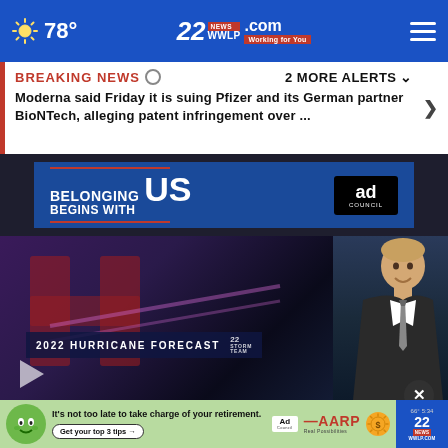78° — WWLP.com 22NEWS Working for You
BREAKING NEWS — 2 MORE ALERTS
Moderna said Friday it is suing Pfizer and its German partner BioNTech, alleging patent infringement over ...
[Figure (screenshot): Ad banner: BELONGING BEGINS WITH US — Ad Council]
[Figure (screenshot): Video thumbnail: 2022 Hurricane Forecast, 22 Storm Team — meteorologist standing in front of screen]
It's not too late to take charge of your retirement. Get your top 3 tips → Ad Council — AARP Real Possibilities